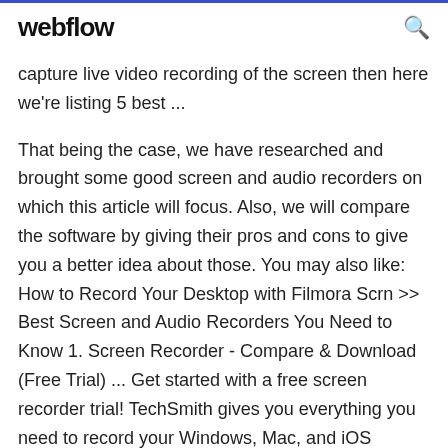webflow
capture live video recording of the screen then here we're listing 5 best ...
That being the case, we have researched and brought some good screen and audio recorders on which this article will focus. Also, we will compare the software by giving their pros and cons to give you a better idea about those. You may also like: How to Record Your Desktop with Filmora Scrn >> Best Screen and Audio Recorders You Need to Know 1. Screen Recorder - Compare & Download (Free Trial) ... Get started with a free screen recorder trial! TechSmith gives you everything you need to record your Windows, Mac, and iOS devices.